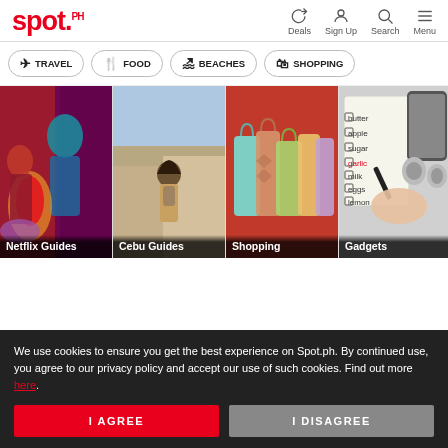spot.ph — Deals, Sign Up, Search, Menu
TRAVEL
FOOD
BEACHES
SHOPPING
[Figure (screenshot): Image card: Netflix Guides — dark dramatic scene with person]
[Figure (screenshot): Image card: Cebu Guides — person with backpack facing mountain landscape]
[Figure (screenshot): Image card: Shopping — colorful shopping bags]
[Figure (screenshot): Image card: Gadgets — hand writing on notepad with phone and earbuds]
We use cookies to ensure you get the best experience on Spot.ph. By continued use, you agree to our privacy policy and accept our use of such cookies. Find out more here.
I AGREE
I DISAGREE